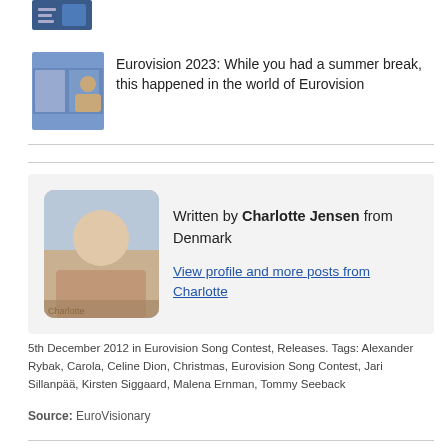[Figure (photo): Small thumbnail image at top, partially cut off, showing a blue/dark themed graphic]
[Figure (photo): Small article thumbnail showing a person with pink hat on blue background]
Eurovision 2023: While you had a summer break, this happened in the world of Eurovision
Written by Charlotte Jensen from Denmark
[Figure (photo): Author photo of Charlotte Jensen]
View profile and more posts from Charlotte
5th December 2012 in Eurovision Song Contest, Releases. Tags: Alexander Rybak, Carola, Celine Dion, Christmas, Eurovision Song Contest, Jari Sillanpää, Kirsten Siggaard, Malena Ernman, Tommy Seeback
Source: EuroVisionary